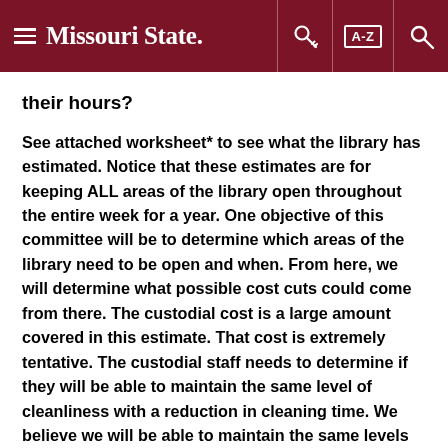≡ Missouri State. [key icon] [A-Z] [search icon]
their hours?
See attached worksheet* to see what the library has estimated. Notice that these estimates are for keeping ALL areas of the library open throughout the entire week for a year. One objective of this committee will be to determine which areas of the library need to be open and when. From here, we will determine what possible cost cuts could come from there. The custodial cost is a large amount covered in this estimate. That cost is extremely tentative. The custodial staff needs to determine if they will be able to maintain the same level of cleanliness with a reduction in cleaning time. We believe we will be able to maintain the same levels of upkeep with the extension of hours, so hopefully that cost can be eliminated. We are also looking to fund the extension of the computer lab hours through SCUF or a